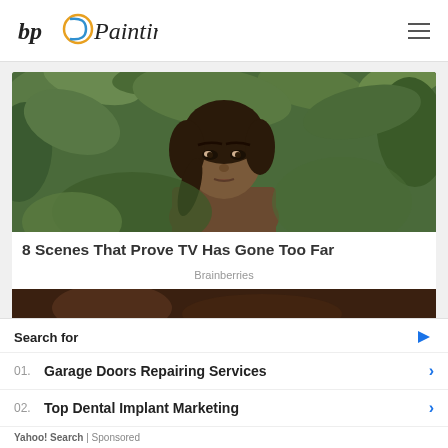bp Painting
[Figure (photo): A young woman with braided dark hair standing in front of green foliage/jungle backdrop, looking directly at camera with a serious expression.]
8 Scenes That Prove TV Has Gone Too Far
Brainberries
[Figure (photo): Partial view of a second article image with dark/warm tones]
Search for
01. Garage Doors Repairing Services
02. Top Dental Implant Marketing
Yahoo! Search | Sponsored